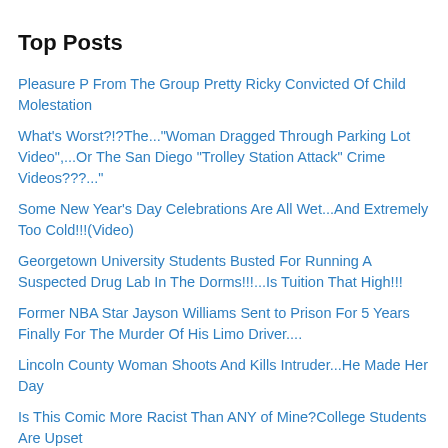Top Posts
Pleasure P From The Group Pretty Ricky Convicted Of Child Molestation
What's Worst?!?The..."Woman Dragged Through Parking Lot Video",...Or The San Diego "Trolley Station Attack" Crime Videos???..."
Some New Year's Day Celebrations Are All Wet...And Extremely Too Cold!!!(Video)
Georgetown University Students Busted For Running A Suspected Drug Lab In The Dorms!!!...Is Tuition That High!!!
Former NBA Star Jayson Williams Sent to Prison For 5 Years Finally For The Murder Of His Limo Driver....
Lincoln County Woman Shoots And Kills Intruder...He Made Her Day
Is This Comic More Racist Than ANY of Mine?College Students Are Upset
6-Year-Old Girl With Downs Syndrome Discovered Caged And Starving In Her Parents Home...She Was Eating The Flakes Of Her Skin!!!(Video)
Venus Williams Shows Some Pink At The 2010 US Open On